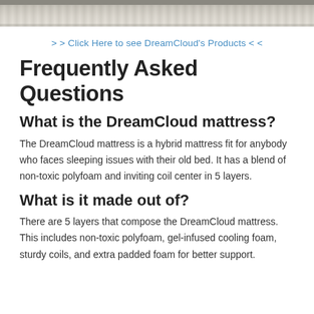[Figure (photo): Top portion of a DreamCloud mattress showing white foam and coil layers visible from the side, cropped at the top of the page]
> > Click Here to see DreamCloud's Products < <
Frequently Asked Questions
What is the DreamCloud mattress?
The DreamCloud mattress is a hybrid mattress fit for anybody who faces sleeping issues with their old bed. It has a blend of non-toxic polyfoam and inviting coil center in 5 layers.
What is it made out of?
There are 5 layers that compose the DreamCloud mattress. This includes non-toxic polyfoam, gel-infused cooling foam, sturdy coils, and extra padded foam for better support.